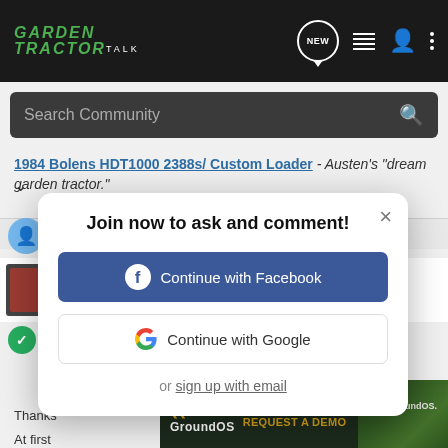GARDEN TRACTOR TALK
Search Community
1984 Bolens HDT1000 2388s/ Custom Loader - Austen's "dream garden tractor."
Join now to ask and comment!
Continue with Facebook
Continue with Google
or sign up with email
Thanks
At first
[Figure (screenshot): GroundOS advertisement banner: 'The nation's top land brokers run on GroundOS. REQUEST A DEMO']